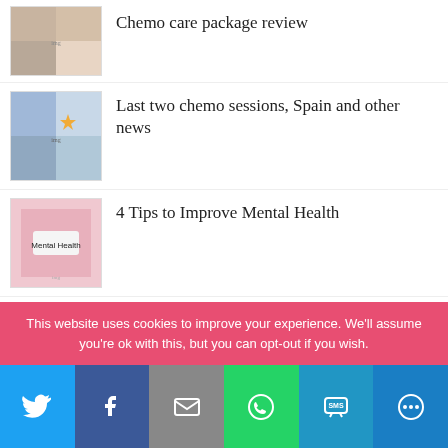[Figure (photo): Thumbnail image for chemo care package review article]
Chemo care package review
[Figure (photo): Thumbnail image collage with person in mask and star graphic for last two chemo sessions article]
Last two chemo sessions, Spain and other news
[Figure (photo): Thumbnail image of Mental Health tag on pink background]
4 Tips to Improve Mental Health
[Figure (photo): Thumbnail image partially visible for April News article]
April News
This website uses cookies to improve your experience. We'll assume you're ok with this, but you can opt-out if you wish.